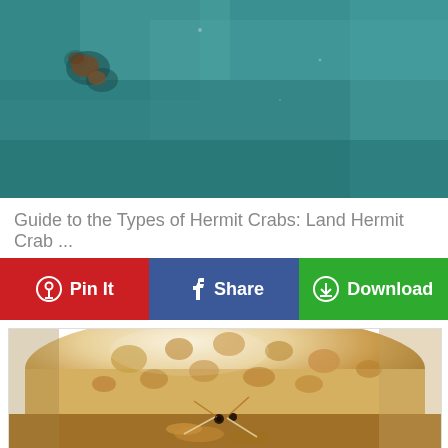[Figure (photo): Close-up of a teal/green textured surface with rust spots, appears to be a painted metal or concrete surface — top portion of hermit crab image page]
Guide to the Types of Hermit Crabs: Land Hermit Crab ...
[Figure (infographic): Three social sharing/action buttons: 'Pin It' (red, Pinterest icon), 'Share' (blue, Facebook icon), 'Download' (green, download icon)]
[Figure (photo): Close-up macro photograph of a hermit crab in a spotted/patterned shell — shell has a white and tan tortoiseshell/leopard pattern, crab visible at bottom with claws and eyes]